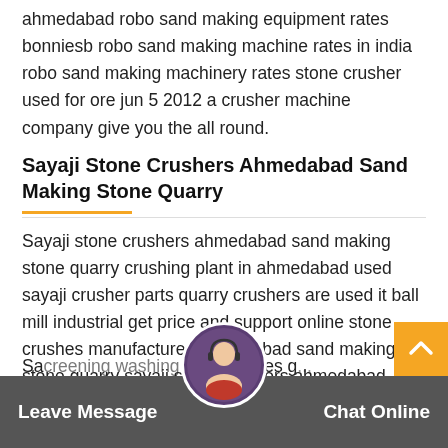ahmedabad robo sand making equipment rates bonniesb robo sand making machine rates in india robo sand making machinery rates stone crusher used for ore jun 5 2012 a crusher machine company give you the all round.
Sayaji Stone Crushers Ahmedabad Sand Making Stone Quarry
Sayaji stone crushers ahmedabad sand making stone quarry crushing plant in ahmedabad used sayaji crusher parts quarry crushers are used it ball mill industrial get price and support online stone crushes manufactures ahmedabad sand making stone quarry sayaji stone crushers ahmedabad sand making stone quarry.
Screening Washing Plants India Prices
Sa screening washing plants prices g...
Leave Message
Chat Online